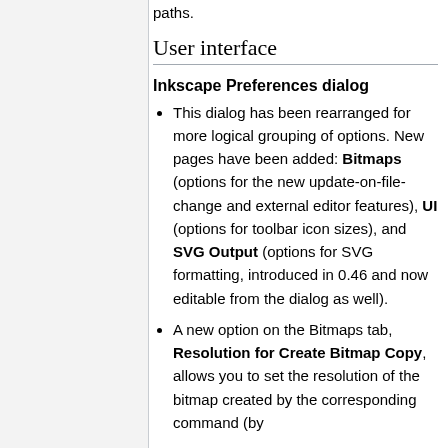paths.
User interface
Inkscape Preferences dialog
This dialog has been rearranged for more logical grouping of options. New pages have been added: Bitmaps (options for the new update-on-file-change and external editor features), UI (options for toolbar icon sizes), and SVG Output (options for SVG formatting, introduced in 0.46 and now editable from the dialog as well).
A new option on the Bitmaps tab, Resolution for Create Bitmap Copy, allows you to set the resolution of the bitmap created by the corresponding command (by